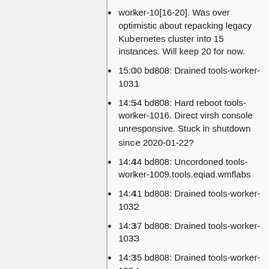worker-10[16-20]. Was over optimistic about repacking legacy Kubernetes cluster into 15 instances. Will keep 20 for now.
15:00 bd808: Drained tools-worker-1031
14:54 bd808: Hard reboot tools-worker-1016. Direct virsh console unresponsive. Stuck in shutdown since 2020-01-22?
14:44 bd808: Uncordoned tools-worker-1009.tools.eqiad.wmflabs
14:41 bd808: Drained tools-worker-1032
14:37 bd808: Drained tools-worker-1033
14:35 bd808: Drained tools-worker-1034
14:34 bd808: Drained tools-worker-1035